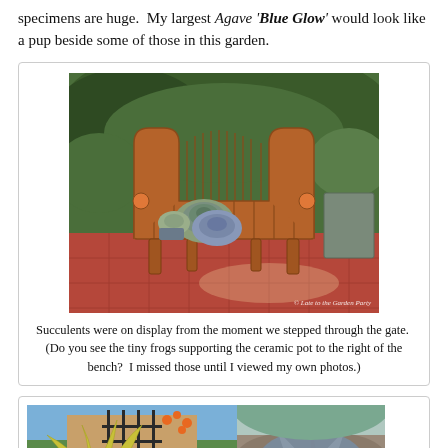specimens are huge. My largest Agave 'Blue Glow' would look like a pup beside some of those in this garden.
[Figure (photo): A decorative wooden bench with curved arms on a red tile patio, with succulents displayed in pots on and around the bench, surrounded by lush green trees and plants. Watermark reads '© Late to the Garden Party'.]
Succulents were on display from the moment we stepped through the gate. (Do you see the tiny frogs supporting the ceramic pot to the right of the bench? I missed those until I viewed my own photos.)
[Figure (photo): Two garden photos side by side: left shows a yellow-green agave or similar spiky plant with a decorative iron gate/trellis in the background and orange flowers; right shows a large silvery-blue agave rosette against a rocky background.]